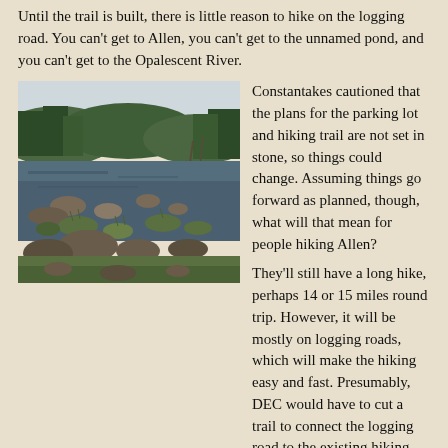Until the trail is built, there is little reason to hike on the logging road. You can't get to Allen, you can't get to the unnamed pond, and you can't get to the Opalescent River.
[Figure (photo): A wilderness pond or wetland scene with rocks, grassy hummocks, dead trees in water, surrounded by forested hills under a cloudy sky.]
Constantakes cautioned that the plans for the parking lot and hiking trail are not set in stone, so things could change. Assuming things go forward as planned, though, what will that mean for people hiking Allen?

They'll still have a long hike, perhaps 14 or 15 miles round trip. However, it will be mostly on logging roads, which will make the hiking easy and fast. Presumably, DEC would have to cut a trail to connect the logging road to the existing hiking trail.
Some people may be interested in visiting the unnamed pond. From the proposed parking area, it would be a hike of under two miles. I got to it by turning onto an old skid road or ATV trail soon after crossing the LeClaire Brook bridge. It's a pretty pond, enlarged by beaver dams, with an impressive view of the High Peaks. Evidently the ATV who use the road which...